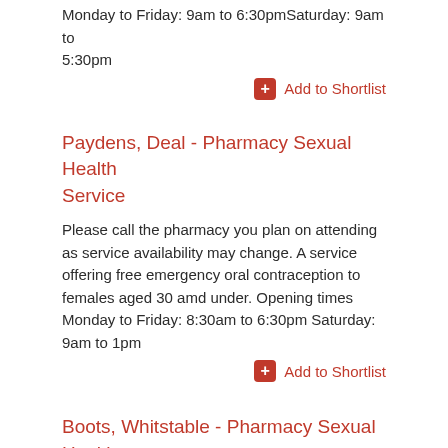Monday to Friday: 9am to 6:30pmSaturday: 9am to 5:30pm
Add to Shortlist
Paydens, Deal - Pharmacy Sexual Health Service
Please call the pharmacy you plan on attending as service availability may change. A service offering free emergency oral contraception to females aged 30 amd under. Opening times Monday to Friday: 8:30am to 6:30pm Saturday: 9am to 1pm
Add to Shortlist
Boots, Whitstable - Pharmacy Sexual Health Service